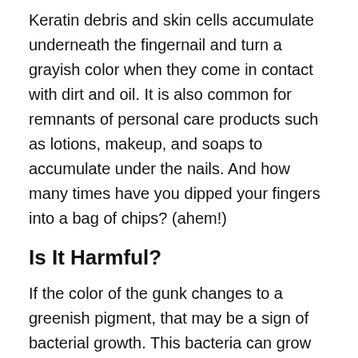Keratin debris and skin cells accumulate underneath the fingernail and turn a grayish color when they come in contact with dirt and oil. It is also common for remnants of personal care products such as lotions, makeup, and soaps to accumulate under the nails. And how many times have you dipped your fingers into a bag of chips? (ahem!)
Is It Harmful?
If the color of the gunk changes to a greenish pigment, that may be a sign of bacterial growth. This bacteria can grow into an infection, which often occurs with people who wear artificial nails such as acrylic or gel nails. Acrylic and gel nails carry a higher risk for infection because they are usually longer and have micro-openings that trap bacteria, making them the